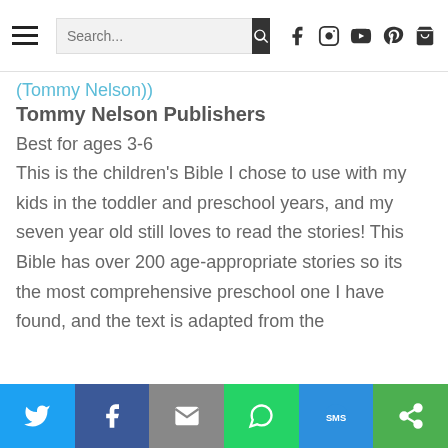Search... [navigation bar with hamburger menu, search box, and social icons: Facebook, Instagram, YouTube, Pinterest, Cart]
(Tommy Nelson))
Tommy Nelson Publishers
Best for ages 3-6
This is the children’s Bible I chose to use with my kids in the toddler and preschool years, and my seven year old still loves to read the stories!  This  Bible has over 200 age-appropriate stories so its the most comprehensive preschool one I have found, and the text is adapted from the
Share buttons: Twitter, Facebook, Email, WhatsApp, SMS, More